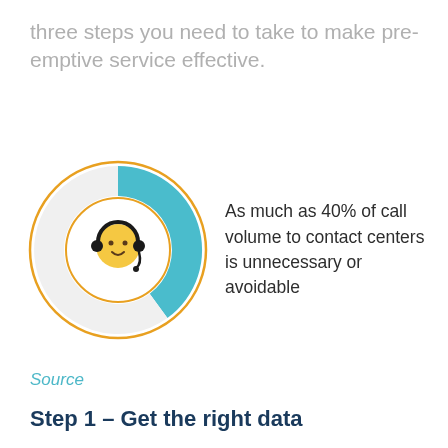three steps you need to take to make pre-emptive service effective.
[Figure (donut-chart): As much as 40% of call volume to contact centers is unnecessary or avoidable]
As much as 40% of call volume to contact centers is unnecessary or avoidable
Source
Step 1 – Get the right data